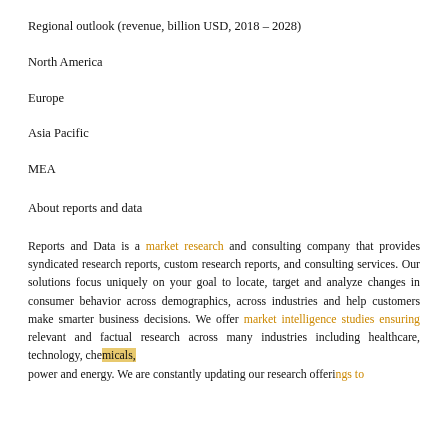Regional outlook (revenue, billion USD, 2018 – 2028)
North America
Europe
Asia Pacific
MEA
About reports and data
Reports and Data is a market research and consulting company that provides syndicated research reports, custom research reports, and consulting services. Our solutions focus uniquely on your goal to locate, target and analyze changes in consumer behavior across demographics, across industries and help customers make smarter business decisions. We offer market intelligence studies ensuring relevant and factual research across many industries including healthcare, technology, chemicals, power and energy. We are constantly updating our research offerings to